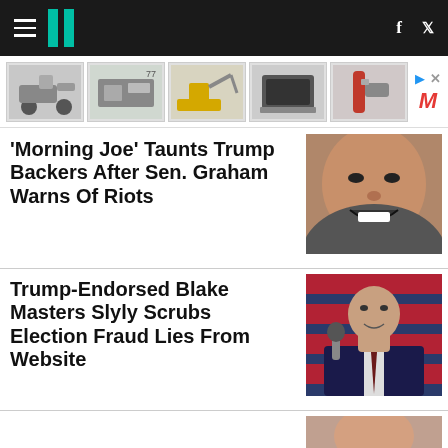HuffPost navigation with hamburger menu, logo, Facebook and Twitter icons
[Figure (screenshot): Ad banner row with 5 product thumbnails (mobility scooter, machine, excavator, printer/device, drill tool) and ad metadata with play arrow, X, red M logo, and chevron up]
'Morning Joe' Taunts Trump Backers After Sen. Graham Warns Of Riots
[Figure (photo): Close-up photo of Senator Lindsey Graham with an angry expression]
Trump-Endorsed Blake Masters Slyly Scrubs Election Fraud Lies From Website
[Figure (photo): Photo of Blake Masters speaking into a microphone in front of an American flag, wearing a dark suit]
Partial third article headline (cut off at bottom)